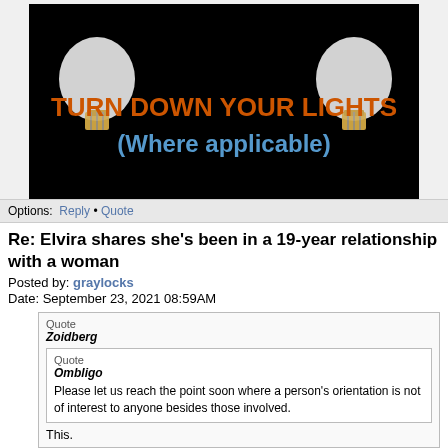[Figure (illustration): Dark banner image showing two light bulbs on a black background with text 'TURN DOWN YOUR LIGHTS' in orange and '(Where applicable)' in blue]
Options:  Reply • Quote
Re: Elvira shares she's been in a 19-year relationship with a woman
Posted by: graylocks
Date: September 23, 2021 08:59AM
Quote
Zoidberg
Quote
Ombligo
Please let us reach the point soon where a person's orientation is not of interest to anyone besides those involved.
This.
We will someday but I doubt in my lifetime. I do think we have progressed to a point where public knowledge of one's orientation doesn't always have the devastating consequences to career and/or life that it used to. I sometimes get the sense that some of you find